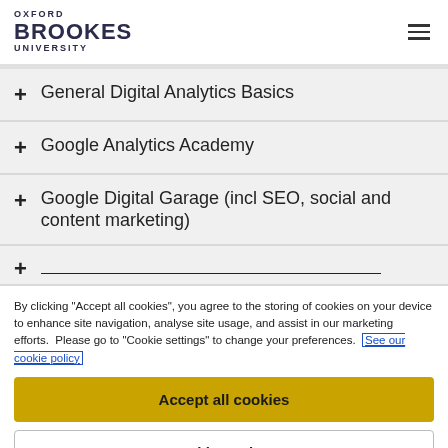OXFORD BROOKES UNIVERSITY
+ General Digital Analytics Basics
+ Google Analytics Academy
+ Google Digital Garage (incl SEO, social and content marketing)
+ [partially visible item]
By clicking "Accept all cookies", you agree to the storing of cookies on your device to enhance site navigation, analyse site usage, and assist in our marketing efforts. Please go to "Cookie settings" to change your preferences. See our cookie policy
Accept all cookies
Cookie settings